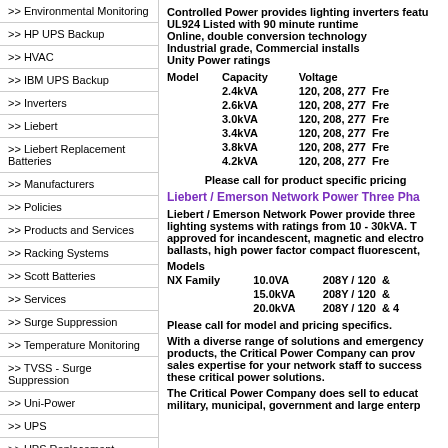>> Environmental Monitoring
>> HP UPS Backup
>> HVAC
>> IBM UPS Backup
>> Inverters
>> Liebert
>> Liebert Replacement Batteries
>> Manufacturers
>> Policies
>> Products and Services
>> Racking Systems
>> Scott Batteries
>> Services
>> Surge Suppression
>> Temperature Monitoring
>> TVSS - Surge Suppression
>> Uni-Power
>> UPS
>> UPS Replacement Batteries
>> UPS Rental
>> VOIP Telephone Backup Power
>> Xantrex
Controlled Power provides lighting inverters featuring UL924 Listed with 90 minute runtime Online, double conversion technology Industrial grade, Commercial installs Unity Power ratings
| Model | Capacity | Voltage |
| --- | --- | --- |
|  | 2.4kVA | 120, 208, 277  Fre |
|  | 2.6kVA | 120, 208, 277  Fre |
|  | 3.0kVA | 120, 208, 277  Fre |
|  | 3.4kVA | 120, 208, 277  Fre |
|  | 3.8kVA | 120, 208, 277  Fre |
|  | 4.2kVA | 120, 208, 277  Fre |
Please call for product specific pricing
Liebert / Emerson Network Power Three Pha
Liebert / Emerson Network Power provide three lighting systems with ratings from 10 - 30kVA. These are approved for incandescent, magnetic and electronic ballasts, high power factor compact fluorescent,
| Models |  |  |
| --- | --- | --- |
| NX Family | 10.0VA | 208Y / 120  & |
|  | 15.0kVA | 208Y / 120  & |
|  | 20.0kVA | 208Y / 120  & 4 |
Please call for model and pricing specifics.
With a diverse range of solutions and emergency products, the Critical Power Company can provide sales expertise for your network staff to successfully these critical power solutions.
The Critical Power Company does sell to educational, military, municipal, government and large enterprise